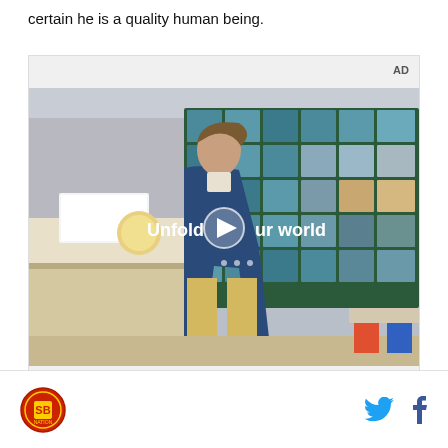certain he is a quality human being.
[Figure (screenshot): Advertisement video player showing a young man in a denim jacket walking through a diner/cafeteria with blue tiled windows. Text overlay reads 'Unfold your world' with a play button. AD label in top right corner.]
SB Nation logo, Twitter icon, Facebook icon